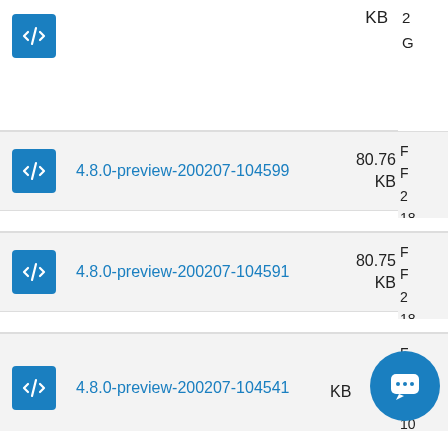4.8.0-preview-200207-104599 80.76 KB
4.8.0-preview-200207-104591 80.75 KB
4.8.0-preview-200207-104541 KB